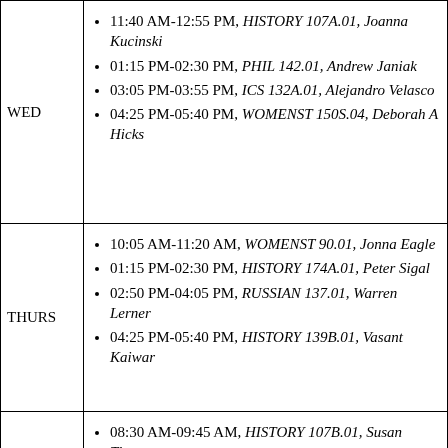| Day | Schedule |
| --- | --- |
| WED | 11:40 AM-12:55 PM, HISTORY 107A.01, Joanna Kucinski | 01:15 PM-02:30 PM, PHIL 142.01, Andrew Janiak | 03:05 PM-03:55 PM, ICS 132A.01, Alejandro Velasco | 04:25 PM-05:40 PM, WOMENST 150S.04, Deborah A Hicks |
| THURS | 10:05 AM-11:20 AM, WOMENST 90.01, Jonna Eagle | 01:15 PM-02:30 PM, HISTORY 174A.01, Peter Sigal | 02:50 PM-04:05 PM, RUSSIAN 137.01, Warren Lerner | 04:25 PM-05:40 PM, HISTORY 139B.01, Vasant Kaiwar |
| FRI | 08:30 AM-09:45 AM, HISTORY 107B.01, Susan Thorne | 10:20 AM-11:10 AM, SPANISH 1.02, Marcus Reyes Molero |